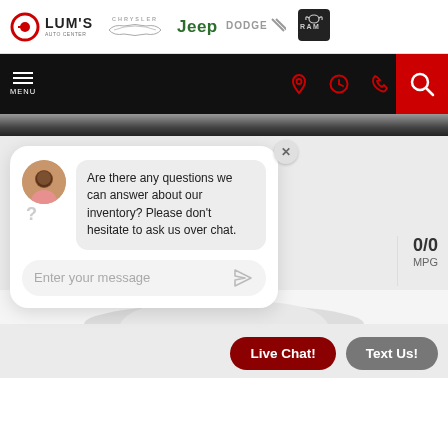[Figure (logo): Lum's Auto Center logo with red circle and LUM'S text]
[Figure (logo): Chrysler logo with wing emblem and CHRYSLER text]
[Figure (logo): Jeep logo in green italic text]
[Figure (logo): Dodge logo in gray text with double slash]
[Figure (logo): RAM logo with ram head icon]
[Figure (screenshot): Navigation bar with hamburger MENU button, location pin, clock, phone icons in red, and red search button]
[Figure (screenshot): Live chat widget showing avatar of a smiling man, chat bubble asking 'Are there any questions we can answer about our inventory? Please don't hesitate to ask us over chat.' and an 'Enter your message' input field with send arrow icon. MPG 0/0 shown to the right.]
Are there any questions we can answer about our inventory? Please don't hesitate to ask us over chat.
Enter your message
0/0
MPG
Live Chat!
Text Us!